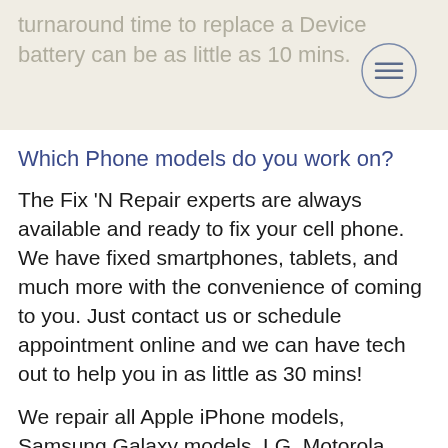turnaround time to replace a Device battery can be as little as 10 mins.
Which Phone models do you work on?
The Fix 'N Repair experts are always available and ready to fix your cell phone. We have fixed smartphones, tablets, and much more with the convenience of coming to you. Just contact us or schedule appointment online and we can have tech out to help you in as little as 30 mins!
We repair all Apple iPhone models, Samsung Galaxy models, LG, Motorola. One Plus, Google Pixel, ZTE and Blu models.